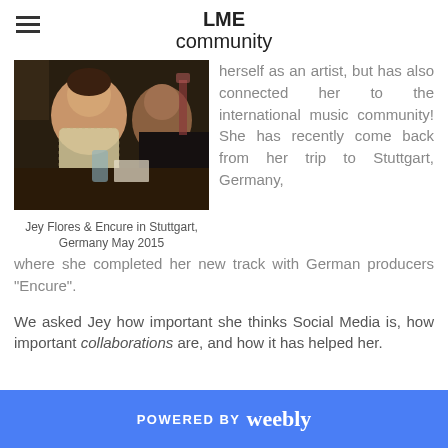LME community
[Figure (photo): Photo of Jey Flores and Encure sitting at a bar/restaurant table in Stuttgart, Germany, May 2015]
Jey Flores & Encure in Stuttgart, Germany May 2015
herself as an artist, but has also connected her to the international music community! She has recently come back from her trip to Stuttgart, Germany, where she completed her new track with German producers "Encure".
We asked Jey how important she thinks Social Media is, how important collaborations are, and how it has helped her.
POWERED BY weebly